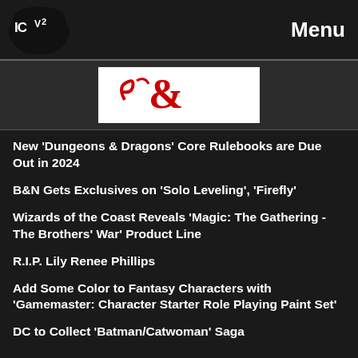ICV2 | Menu
[Figure (logo): Dungeons and Dragons logo (partially visible, red ampersand on white background)]
New 'Dungeons & Dragons' Core Rulebooks are Due Out in 2024
B&N Gets Exclusives on 'Solo Leveling', 'Firefly'
Wizards of the Coast Reveals 'Magic: The Gathering - The Brothers' War' Product Line
R.I.P. Lily Renee Phillips
Add Some Color to Fantasy Characters with 'Gamemaster: Character Starter Role Playing Paint Set'
DC to Collect 'Batman/Catwoman' Saga